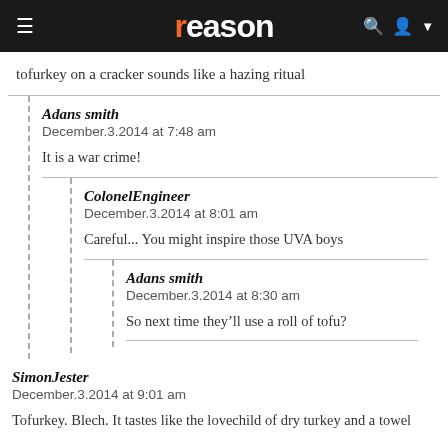reason
tofurkey on a cracker sounds like a hazing ritual
Adans smith
December.3.2014 at 7:48 am

It is a war crime!
ColonelEngineer
December.3.2014 at 8:01 am

Careful... You might inspire those UVA boys
Adans smith
December.3.2014 at 8:30 am

So next time they’ll use a roll of tofu?
SimonJester
December.3.2014 at 9:01 am

Tofurkey. Blech. It tastes like the lovechild of dry turkey and a towel